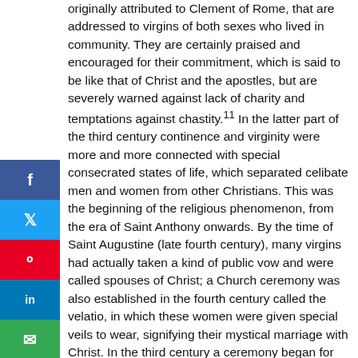originally attributed to Clement of Rome, that are addressed to virgins of both sexes who lived in community. They are certainly praised and encouraged for their commitment, which is said to be like that of Christ and the apostles, but are severely warned against lack of charity and temptations against chastity.11 In the latter part of the third century continence and virginity were more and more connected with special consecrated states of life, which separated celibate men and women from other Christians. This was the beginning of the religious phenomenon, from the era of Saint Anthony onwards. By the time of Saint Augustine (late fourth century), many virgins had actually taken a kind of public vow and were called spouses of Christ; a Church ceremony was also established in the fourth century called the velatio, in which these women were given special veils to wear, signifying their mystical marriage with Christ. In the third century a ceremony began for the public profession of consecrated virgins before the bishop, which has been restored to the Church in recent times.